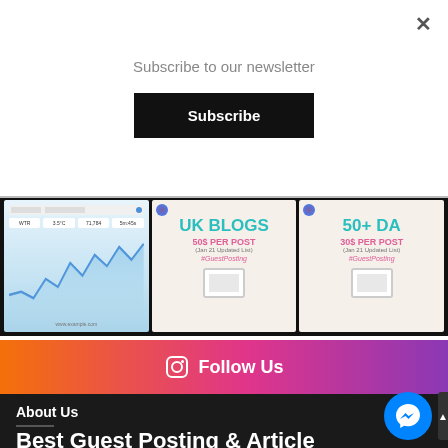Subscribe to our newsletter
Subscribe
[Figure (screenshot): Three social media / promotional images: 1) an analytics line chart screenshot, 2) UK Blogs 50$ per post (Jan 21 Updated List) #GuestPosting, 3) 50+ DA 30$ per post (Jan 21 Updated List) #GuestPosting]
Follow Us
About Us
Best Guest Posting & Article